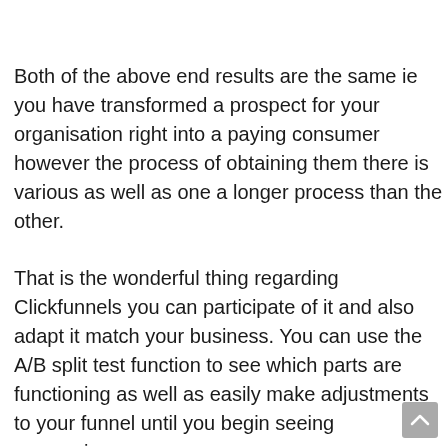Both of the above end results are the same ie you have transformed a prospect for your organisation right into a paying consumer however the process of obtaining them there is various as well as one a longer process than the other.
That is the wonderful thing regarding Clickfunnels you can participate of it and also adapt it match your business. You can use the A/B split test function to see which parts are functioning as well as easily make adjustments to your funnel until you begin seeing conversions.
The combinations of organisations that Clickfunnels can help are limitless you would certainly simply require to discover a